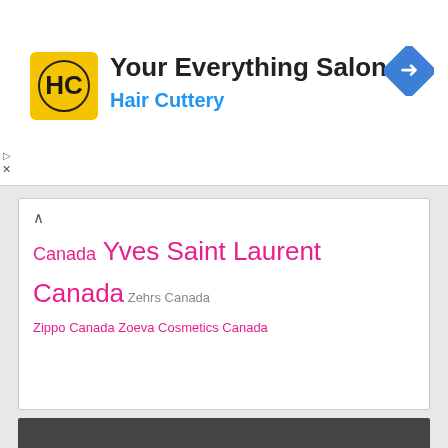[Figure (logo): Hair Cuttery advertisement banner with HC logo in yellow square, title 'Your Everything Salon', subtitle 'Hair Cuttery' in blue, and a blue navigation diamond icon on the right]
Canada Yves Saint Laurent Canada Zehrs Canada Zippo Canada Zoeva Cosmetics Canada
Copyright © Glossense 2018 – 2021. All rights reserved.